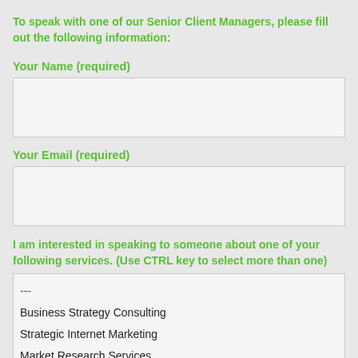To speak with one of our Senior Client Managers, please fill out the following information:
Your Name (required)
Your Email (required)
I am interested in speaking to someone about one of your following services. (Use CTRL key to select more than one)
---
Business Strategy Consulting
Strategic Internet Marketing
Market Research Services
Competitive Intelligence Analysis